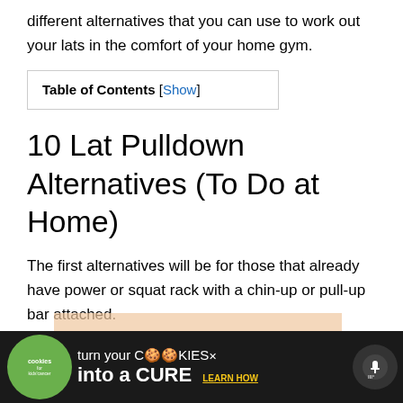different alternatives that you can use to work out your lats in the comfort of your home gym.
| Table of Contents [Show] |
10 Lat Pulldown Alternatives (To Do at Home)
The first alternatives will be for those that already have power or squat rack with a chin-up or pull-up bar attached.
[Figure (other): Advertisement banner: cookies for kids cancer - turn your COOKIES into a CURE LEARN HOW]